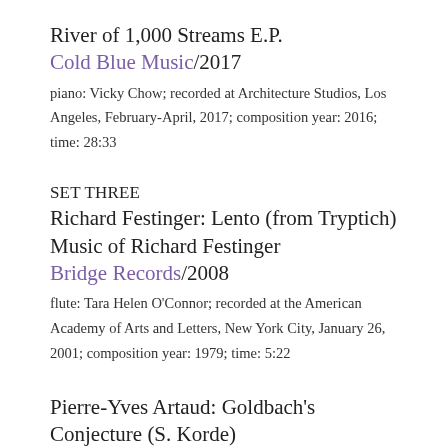River of 1,000 Streams E.P.
Cold Blue Music/2017
piano: Vicky Chow; recorded at Architecture Studios, Los Angeles, February-April, 2017; composition year: 2016; time: 28:33
SET THREE
Richard Festinger: Lento (from Tryptich)
Music of Richard Festinger
Bridge Records/2008
flute: Tara Helen O'Connor; recorded at the American Academy of Arts and Letters, New York City, January 26, 2001; composition year: 1979; time: 5:22
Pierre-Yves Artaud: Goldbach's Conjecture (S. Korde)
Contemporary Flute Music
Neuma Records/1992